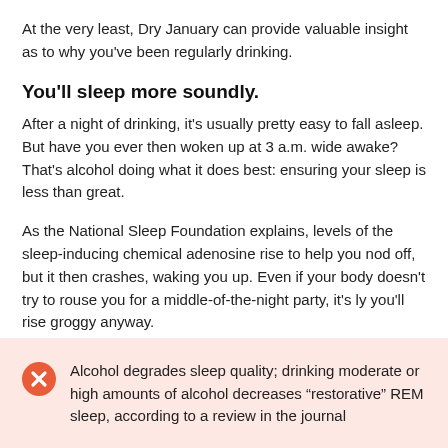At the very least, Dry January can provide valuable insight as to why you've been regularly drinking.
You'll sleep more soundly.
After a night of drinking, it’s usually pretty easy to fall asleep. But have you ever then woken up at 3 a.m. wide awake? That’s alcohol doing what it does best: ensuring your sleep is less than great.
As the National Sleep Foundation explains, levels of the sleep-inducing chemical adenosine rise to help you nod off, but it then crashes, waking you up. Even if your body doesn’t try to rouse you for a middle-of-the-night party, it’s ly you’ll rise groggy anyway.
Alcohol degrades sleep quality; drinking moderate or high amounts of alcohol decreases “restorative” REM sleep, according to a review in the journal